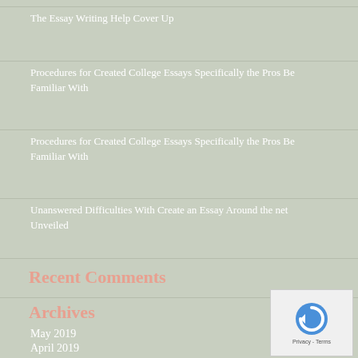The Essay Writing Help Cover Up
Procedures for Created College Essays Specifically the Pros Be Familiar With
Procedures for Created College Essays Specifically the Pros Be Familiar With
Unanswered Difficulties With Create an Essay Around the net Unveiled
Recent Comments
Archives
May 2019
April 2019
March 2019